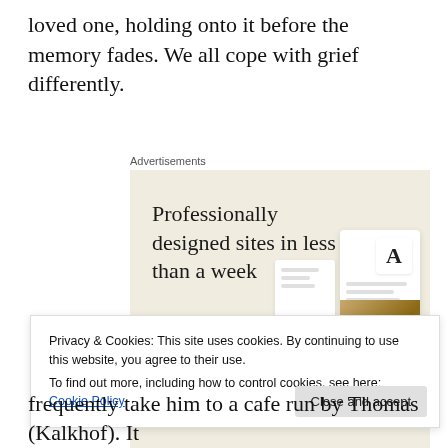loved one, holding onto it before the memory fades. We all cope with grief differently.
Advertisements
[Figure (illustration): Advertisement banner with beige background showing 'Professionally designed sites in less than a week' with a green 'Explore options' button and mockup website images on the right.]
Privacy & Cookies: This site uses cookies. By continuing to use this website, you agree to their use.
To find out more, including how to control cookies, see here: Cookie Policy
frequently take him to a cafe run by Thomas (Kalkhof). It